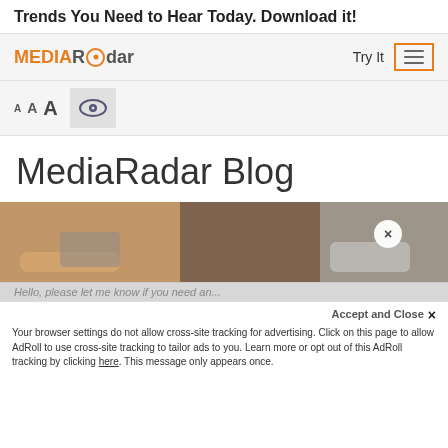Trends You Need to Hear Today. Download it!
[Figure (screenshot): MediaRadar website navigation bar with logo, Try It text, and hamburger menu button in orange border]
[Figure (screenshot): Font size selector with three A sizes (small, medium, large) and an eye icon in grey box]
MediaRadar Blog
[Figure (photo): Photo of people working at a desk with phones and laptops, with a white circular close (X) button overlay]
Hello, please let me know if you need an...
Accept and Close ×
Your browser settings do not allow cross-site tracking for advertising. Click on this page to allow AdRoll to use cross-site tracking to tailor ads to you. Learn more or opt out of this AdRoll tracking by clicking here. This message only appears once.